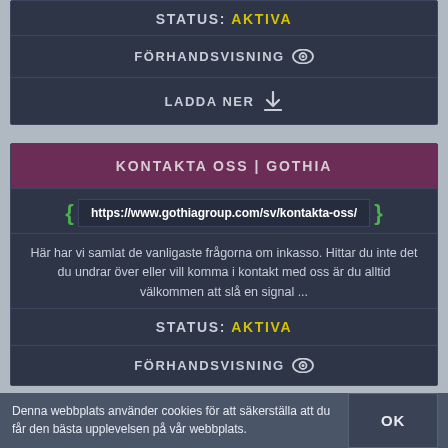STATUS: AKTIVA
FÖRHANDSVISNING
LADDA NER
KONTAKTA OSS | GOTHIA
https://www.gothiagroup.com/sv/kontakta-oss/
Här har vi samlat de vanligaste frågorna om inkasso. Hittar du inte det du undrar över eller vill komma i kontakt med oss är du alltid välkommen att slå en signal ...
STATUS: AKTIVA
FÖRHANDSVISNING
Denna webbplats använder cookies för att säkerställa att du får den bästa upplevelsen på vår webbplats.